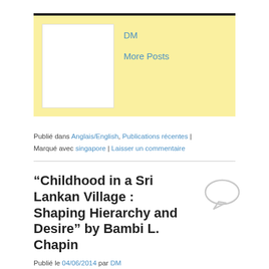[Figure (other): Author box with yellow background, white photo placeholder on left, 'DM' link and 'More Posts' link on right]
Publié dans Anglais/English, Publications récentes | Marqué avec singapore | Laisser un commentaire
“Childhood in a Sri Lankan Village : Shaping Hierarchy and Desire” by Bambi L. Chapin
[Figure (illustration): Speech bubble / comment icon]
Publié le 04/06/2014 par DM